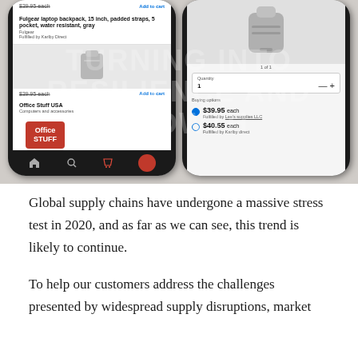[Figure (screenshot): Two smartphone screenshots showing an e-commerce shopping app. Left phone shows product listings for laptop backpacks with prices (~$39.95 each) and an Office Stuff USA store badge. Right phone shows a product detail page for a gray backpack with quantity selector and two price options: $39.95 each (Fulfilled by Lee's supplies LLC) and $40.55 each (Fulfilled by Karlby direct). Watermark text reads 'TURNING INTO RESILIENCE AND GROWTH' overlaid on the background.]
Global supply chains have undergone a massive stress test in 2020, and as far as we can see, this trend is likely to continue.
To help our customers address the challenges presented by widespread supply disruptions, market